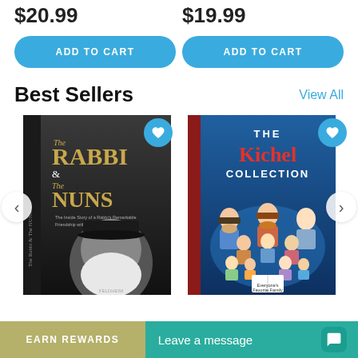$20.99
$19.99
ADD TO CART
ADD TO CART
Best Sellers
View All
[Figure (photo): Book cover: The Rabbi & The Nuns - showing elderly bearded rabbi with text overlay]
[Figure (photo): Book cover: The Kichel Collection - illustrated cartoon family of children on blue background]
EARN REWARDS
Leave a message